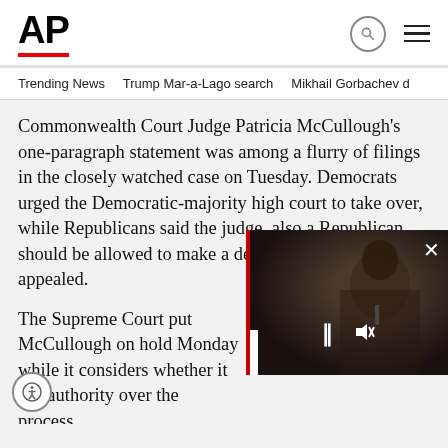AP
Trending News   Trump Mar-a-Lago search   Mikhail Gorbachev d
Commonwealth Court Judge Patricia McCullough's one-paragraph statement was among a flurry of filings in the closely watched case on Tuesday. Democrats urged the Democratic-majority high court to take over, while Republicans said the judge, also a Republican, should be allowed to make a decision that can then be appealed.
The Supreme Court put McCullough on hold Monday while it considers whether it has authority over the process.
[Figure (photo): Video overlay showing a man (Biden) speaking at a podium, with video playback controls (pause button, mute icon), a close button, and a red progress bar at the top.]
McCullough said her decision and b ay at the latest and will incl timeline for candidates to circulat